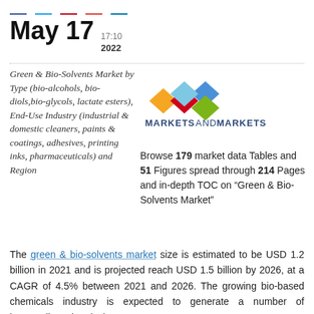Social share icons row
May 17  17:10  2022
Green & Bio-Solvents Market by Type (bio-alcohols, bio-diols,bio-glycols, lactate esters), End-Use Industry (industrial & domestic cleaners, paints & coatings, adhesives, printing inks, pharmaceuticals) and Region
[Figure (logo): MarketsandMarkets logo with colorful diamond shapes above the text MARKETSANDMARKETS]
Browse 179 market data Tables and 51 Figures spread through 214 Pages and in-depth TOC on “Green & Bio-Solvents Market”
The green & bio-solvents market size is estimated to be USD 1.2 billion in 2021 and is projected reach USD 1.5 billion by 2026, at a CAGR of 4.5% between 2021 and 2026. The growing bio-based chemicals industry is expected to generate a number of intermediate chemicals